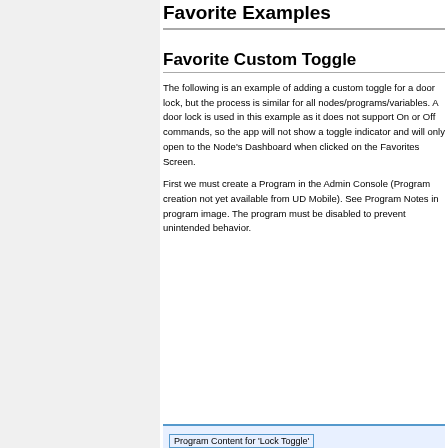Favorite Examples
Favorite Custom Toggle
The following is an example of adding a custom toggle for a door lock, but the process is similar for all nodes/programs/variables. A door lock is used in this example as it does not support On or Off commands, so the app will not show a toggle indicator and will only open to the Node's Dashboard when clicked on the Favorites Screen.
First we must create a Program in the Admin Console (Program creation not yet available from UD Mobile). See Program Notes in program image. The program must be disabled to prevent unintended behavior.
[Figure (screenshot): Program Content for 'Lock Toggle' box label at bottom of page]